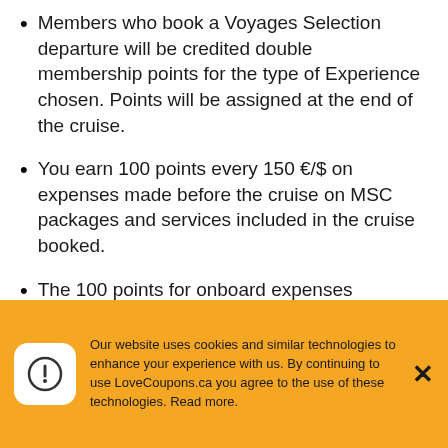Members who book a Voyages Selection departure will be credited double membership points for the type of Experience chosen. Points will be assigned at the end of the cruise.
You earn 100 points every 150 €/$ on expenses made before the cruise on MSC packages and services included in the cruise booked.
The 100 points for onboard expenses (including pre-boarding purchased shipboard credit) will only be assigned to the MSC Voyagers Club cardholder making the final payment.
Our website uses cookies and similar technologies to enhance your experience with us. By continuing to use LoveCoupons.ca you agree to the use of these technologies. Read more.